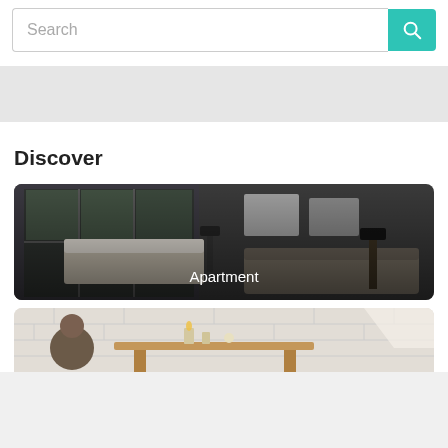[Figure (screenshot): Search bar with text input field showing placeholder 'Search' and a teal search button with magnifying glass icon]
[Figure (other): Light gray advertisement banner placeholder]
Discover
[Figure (photo): Interior photo of a modern hotel room/apartment with large windows, bed, sofa, and wall art. Label 'Apartment' overlaid at bottom center.]
[Figure (photo): Interior photo of a room with white brick wall, candles, decorative items on a wooden table, and a person seated. Partially visible.]